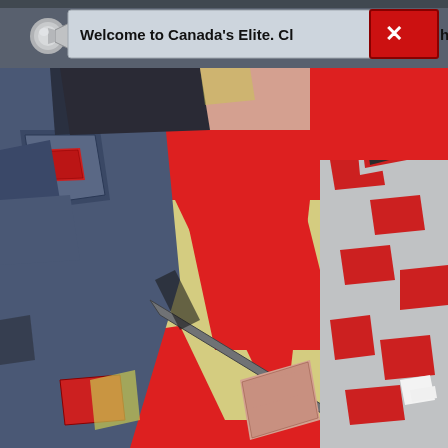[Figure (screenshot): A screenshot of a webpage or application window. The top portion shows a dark gray toolbar/header area with a metallic speaker/megaphone icon on the left and a notification bar reading 'Welcome to Canada's Elite. Cl[ose button]h' with a red X close button. Below is a large comic-book-style illustrated image featuring bold red, yellow/cream, gray, and black colors. The illustration depicts armored or costumed figures with a large red background featuring a stylized geometric symbol or logo in cream/yellow lines. One figure on the left wears dark blue armor with red accents, and another figure on the right wears red and gray camouflage. A wrench or tool is visible being held. The overall style is colorful comic art.]